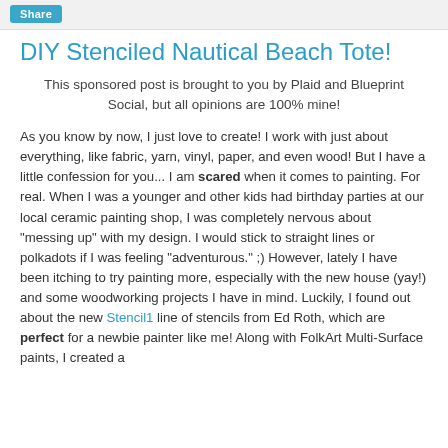Share
DIY Stenciled Nautical Beach Tote!
This sponsored post is brought to you by Plaid and Blueprint Social, but all opinions are 100% mine!
As you know by now, I just love to create!  I work with just about everything, like fabric, yarn, vinyl, paper, and even wood!  But I have a little confession for you...  I am scared when it comes to painting.  For real.  When I was a younger and other kids had birthday parties at our local ceramic painting shop, I was completely nervous about "messing up" with my design.  I would stick to straight lines or polkadots if I was feeling "adventurous."  ;)  However, lately I have been itching to try painting more, especially with the new house (yay!) and some woodworking projects I have in mind.  Luckily, I found out about the new Stencil1 line of stencils from Ed Roth, which are perfect for a newbie painter like me!  Along with FolkArt Multi-Surface paints, I created a